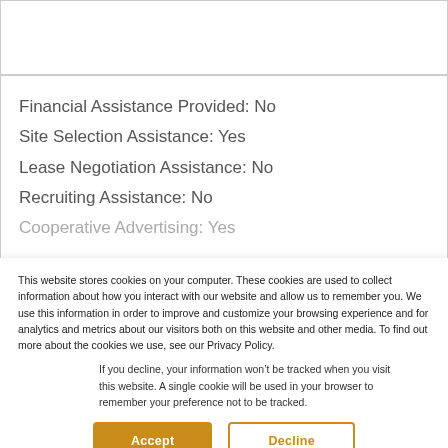Financial Assistance Provided: No
Site Selection Assistance: Yes
Lease Negotiation Assistance: No
Recruiting Assistance: No
Cooperative Advertising: Yes
This website stores cookies on your computer. These cookies are used to collect information about how you interact with our website and allow us to remember you. We use this information in order to improve and customize your browsing experience and for analytics and metrics about our visitors both on this website and other media. To find out more about the cookies we use, see our Privacy Policy.
If you decline, your information won’t be tracked when you visit this website. A single cookie will be used in your browser to remember your preference not to be tracked.
Accept
Decline